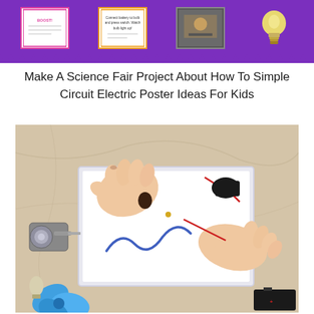[Figure (photo): Purple banner with educational science/circuit project cards and a light bulb image, with zigzag bottom edge]
Make A Science Fair Project About How To Simple Circuit Electric Poster Ideas For Kids
[Figure (photo): Child's hands working on a simple electric circuit project in a white tray, with components including a small motor, battery, wires, and blue fan blades on a marble surface]